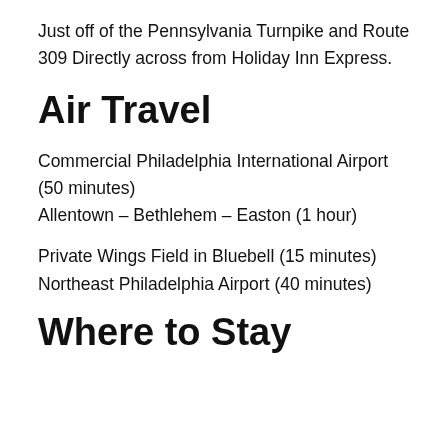Just off of the Pennsylvania Turnpike and Route 309 Directly across from Holiday Inn Express.
Air Travel
Commercial Philadelphia International Airport (50 minutes)
Allentown – Bethlehem – Easton (1 hour)
Private Wings Field in Bluebell (15 minutes)
Northeast Philadelphia Airport (40 minutes)
Where to Stay